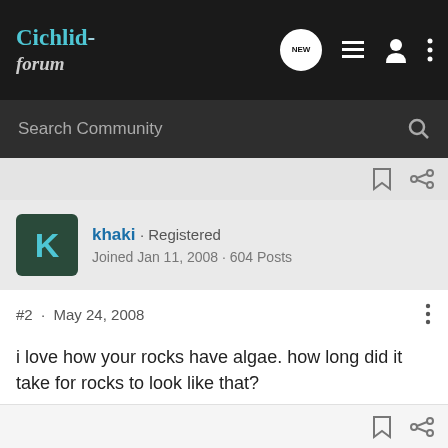Cichlid-forum
Search Community
khaki · Registered
Joined Jan 11, 2008 · 604 Posts
#2 · May 24, 2008
i love how your rocks have algae. how long did it take for rocks to look like that?